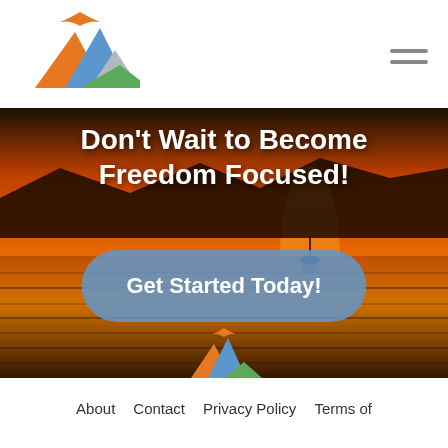[Figure (logo): Freedom Focused logo: orange mountain with blue peak and green hill, orange eagle above]
[Figure (illustration): Hamburger menu icon (three horizontal lines)]
[Figure (photo): Hero background: sunset over water with silhouetted mountains and boat]
Don't Wait to Become Freedom Focused!
Get Started Today!
[Figure (logo): Freedom Focused logo small: orange mountain with blue peak and green hill, orange eagle above]
About   Contact   Privacy Policy   Terms of